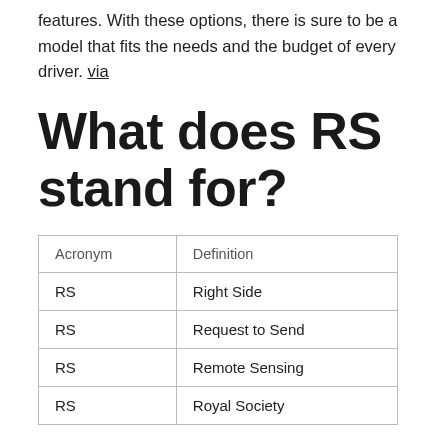features. With these options, there is sure to be a model that fits the needs and the budget of every driver. via
What does RS stand for?
| Acronym | Definition |
| --- | --- |
| RS | Right Side |
| RS | Request to Send |
| RS | Remote Sensing |
| RS | Royal Society |